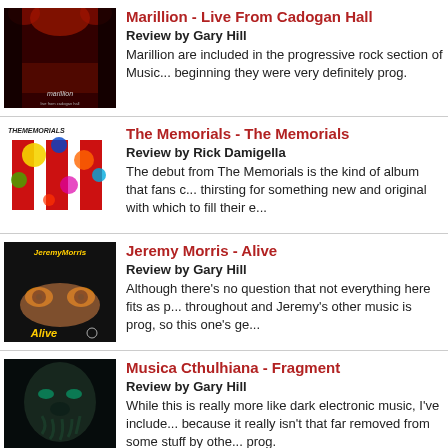[Figure (photo): Album cover for Marillion - Live From Cadogan Hall, dark red stage lighting]
Marillion - Live From Cadogan Hall
Review by Gary Hill
Marillion are included in the progressive rock section of Music... beginning they were very definitely prog.
[Figure (photo): Album cover for The Memorials - The Memorials, colorful abstract design with letters]
The Memorials - The Memorials
Review by Rick Damigella
The debut from The Memorials is the kind of album that fans c... thirsting for something new and original with which to fill their e...
[Figure (photo): Album cover for Jeremy Morris - Alive, black background with eyes and text]
Jeremy Morris - Alive
Review by Gary Hill
Although there's no question that not everything here fits as p... throughout and Jeremy's other music is prog, so this one's ge...
[Figure (photo): Album cover for Musica Cthulhiana - Fragment, dark face on black background]
Musica Cthulhiana - Fragment
Review by Gary Hill
While this is really more like dark electronic music, I've include... because it really isn't that far removed from some stuff by othe... prog.